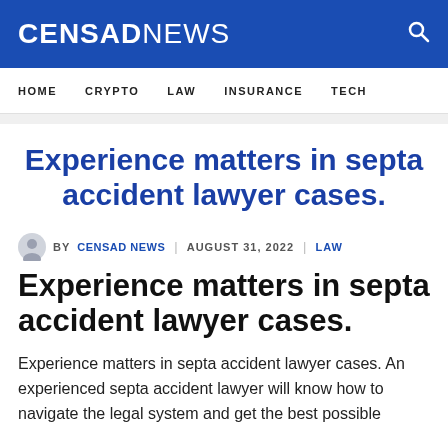CENSAD NEWS
HOME  CRYPTO  LAW  INSURANCE  TECH
Experience matters in septa accident lawyer cases.
BY CENSAD NEWS  AUGUST 31, 2022  LAW
Experience matters in septa accident lawyer cases.
Experience matters in septa accident lawyer cases. An experienced septa accident lawyer will know how to navigate the legal system and get the best possible